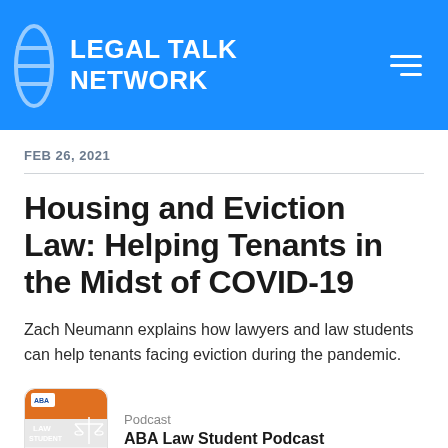LEGAL TALK NETWORK
FEB 26, 2021
Housing and Eviction Law: Helping Tenants in the Midst of COVID-19
Zach Neumann explains how lawyers and law students can help tenants facing eviction during the pandemic.
Podcast
ABA Law Student Podcast